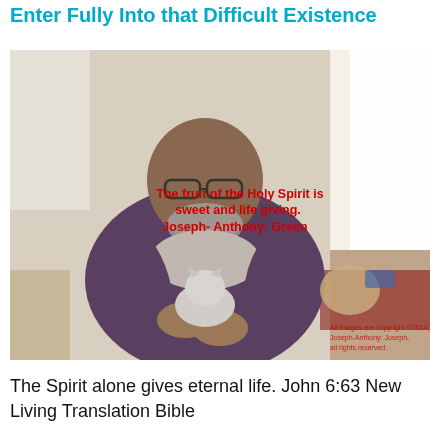Enter Fully Into that Difficult Existence
[Figure (photo): A man with glasses holding a small cat or kitten, sitting in a chair near a window. Overlaid red text reads: 'The fruit of the Holy Spirit is sweet and life giving. Joseph- Anthony: Green'. Bottom-right watermark reads: 'All images are copyright ©2014, Joseph-Anthony: Joseph, all rights reserved.']
The Spirit alone gives eternal life. John 6:63 New Living Translation Bible